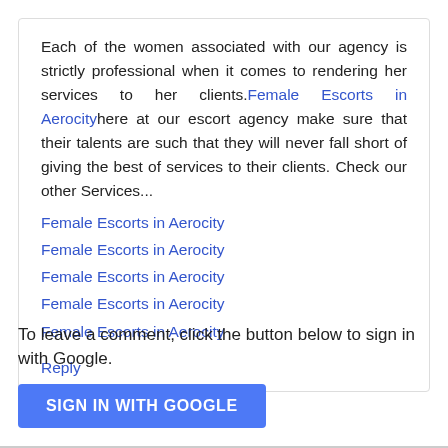Each of the women associated with our agency is strictly professional when it comes to rendering her services to her clients. Female Escorts in Aerocity here at our escort agency make sure that their talents are such that they will never fall short of giving the best of services to their clients. Check our other Services...
Female Escorts in Aerocity
Female Escorts in Aerocity
Female Escorts in Aerocity
Female Escorts in Aerocity
Female Escorts in Aerocity
Reply
To leave a comment, click the button below to sign in with Google.
SIGN IN WITH GOOGLE